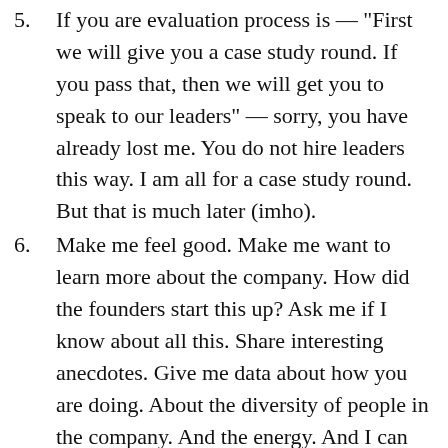5. If you are evaluation process is — "First we will give you a case study round. If you pass that, then we will get you to speak to our leaders" — sorry, you have already lost me. You do not hire leaders this way. I am all for a case study round. But that is much later (imho).
6. Make me feel good. Make me want to learn more about the company. How did the founders start this up? Ask me if I know about all this. Share interesting anecdotes. Give me data about how you are doing. About the diversity of people in the company. And the energy. And I can go on.
7. Tell me about the team. Tell me why you joined the team. How much you enjoy working with this team. (And so on, and so on.)